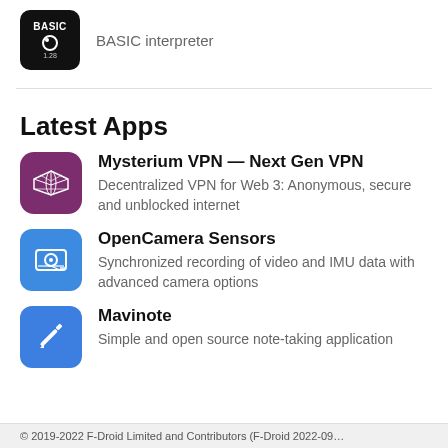[Figure (logo): BASIC interpreter app icon — black square with BASIC text and version 1.28]
BASIC interpreter
Latest Apps
[Figure (logo): Mysterium VPN app icon — purple circle with network/mesh pattern]
Mysterium VPN — Next Gen VPN
Decentralized VPN for Web 3: Anonymous, secure and unblocked internet
[Figure (logo): OpenCamera Sensors app icon — blue square with camera/sensor icon]
OpenCamera Sensors
Synchronized recording of video and IMU data with advanced camera options
[Figure (logo): Mavinote app icon — blue square with pencil icon]
Mavinote
Simple and open source note-taking application
© 2019-2022 F-Droid Limited and Contributors (F-Droid 2022-09…